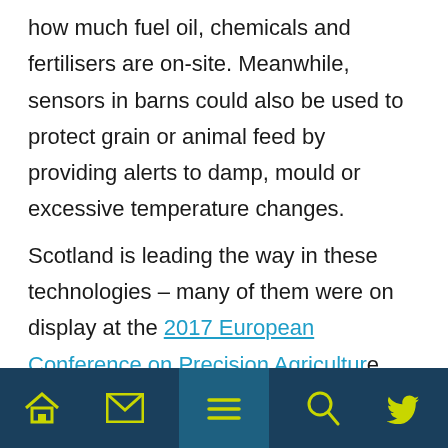how much fuel oil, chemicals and fertilisers are on-site. Meanwhile, sensors in barns could also be used to protect grain or animal feed by providing alerts to damp, mould or excessive temperature changes.

Scotland is leading the way in these technologies – many of them were on display at the 2017 European Conference on Precision Agriculture (ECPA) in Edinburgh.

Hoofprint Technologies, Stream Technologies, and others are just
[Figure (other): Mobile navigation bar with home, email, menu (hamburger), search, and Twitter icons on a dark teal background]